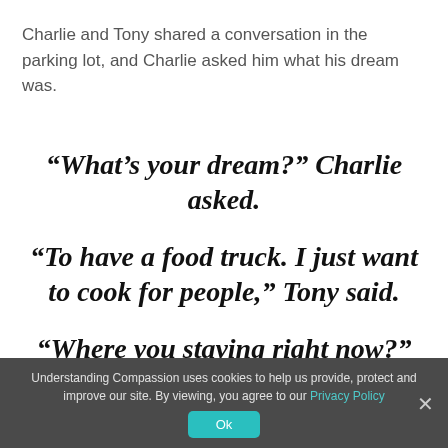Charlie and Tony shared a conversation in the parking lot, and Charlie asked him what his dream was.
“What’s your dream?” Charlie asked.
“To have a food truck. I just want to cook for people,” Tony said.
“Where you staying right now?”
Understanding Compassion uses cookies to help us provide, protect and improve our site. By viewing, you agree to our Privacy Policy
Ok